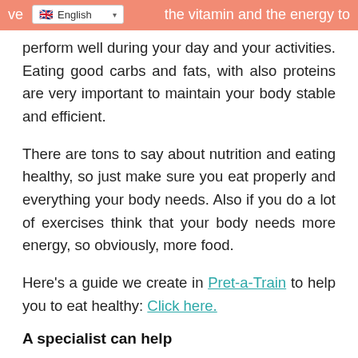ve... the vitamin and the energy to
perform well during your day and your activities. Eating good carbs and fats, with also proteins are very important to maintain your body stable and efficient.
There are tons to say about nutrition and eating healthy, so just make sure you eat properly and everything your body needs. Also if you do a lot of exercises think that your body needs more energy, so obviously, more food.
Here's a guide we create in Pret-a-Train to help you to eat healthy: Click here.
A specialist can help
If you are not sure about what to eat or how to